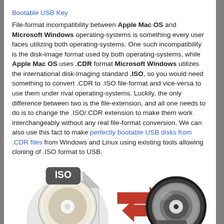Bootable USB Key
File-format incompatibility between Apple Mac OS and Microsoft Windows operating-systems is something every user faces utilizing both operating-systems. One such incompatibility is the disk-image format used by both operating-systems, while Apple Mac OS uses .CDR format Microsoft Windows utilizes the international disk-imaging standard .ISO, so you would need something to convert .CDR to .ISO file-format and vice-versa to use them under rival operating-systems. Luckily, the only difference between two is the file-extension, and all one needs to do is to change the .ISO/.CDR extension to make them work interchangeably without any real file-format conversion. We can also use this fact to make perfectly bootable USB disks from .CDR files from Windows and Linux using existing tools allowing cloning of .ISO format to USB.
[Figure (illustration): An ISO disc image icon on the left with two red double-headed arrows pointing right, and a CDR disc icon on the right, illustrating conversion between ISO and CDR formats.]